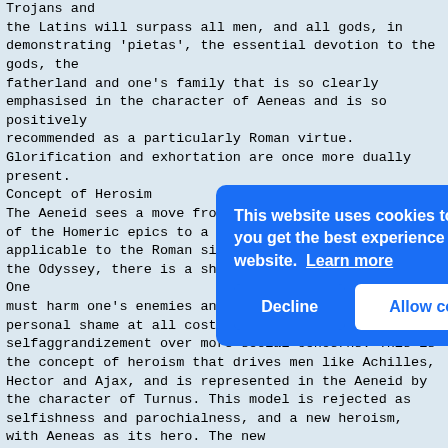Trojans and
the Latins will surpass all men, and all gods, in demonstrating 'pietas', the essential devotion to the gods, the
fatherland and one's family that is so clearly emphasised in the character of Aeneas and is so positively
recommended as a particularly Roman virtue.
Glorification and exhortation are once more dually present.
Concept of Herosim
The Aeneid sees a move from the traditional heroism of the Homeric epics to a contemporary heroism, more applicable to the Roman situation. In the Iliad and the Odyssey, there is a sharply defined heroic code. One
must harm one's enemies and help one's friends; avoid personal shame at all costs; choose selfaggrandizement over more social concerns. This is the concept of heroism that drives men like Achilles, Hector and Ajax, and is represented in the Aeneid by the character of Turnus. This model is rejected as selfishness and parochialness, and a new heroism, opposed to this, is presented by Virgil, with Aeneas as its hero. The new concept of heroism that Virgil embodies in the figure of Aeneas is the heroism of the leader, and it is most easily summed up in the concept of 'pietas'. The famous scene at the end of Book 2, when Aeneas carries his father out of Troy on his back, is well-known to all students of classics, and it also deals with this concept. It also exemplifies the shift to a new heroism, most clearly through the character
[Figure (screenshot): Cookie consent overlay popup with blue background. Text reads: 'This website uses cookies to ensure you get the best experience on our website. Learn more' with Decline and Allow cookies buttons.]